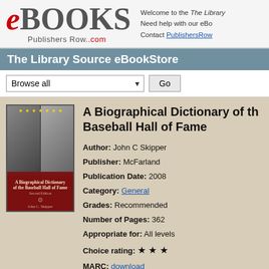eBOOKS PublishersRow.com — Welcome to the The Library... Need help with our eBo... Contact PublishersRow...
The Library Source eBookStore
Browse all [dropdown] Go
A Biographical Dictionary of the Baseball Hall of Fame
[Figure (illustration): Book cover of 'A Biographical Dictionary of the Baseball Hall of Fame' by John C. Skipper, dark red cover with vintage baseball photos]
Author: John C Skipper
Publisher: McFarland
Publication Date: 2008
Category: General
Grades: Recommended
Number of Pages: 362
Appropriate for: All levels
Choice rating: ★★★
MARC: download